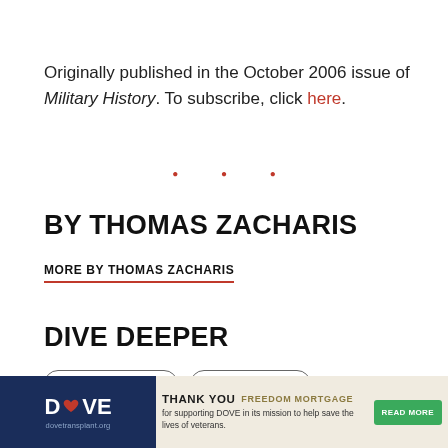Originally published in the October 2006 issue of Military History. To subscribe, click here.
• • •
BY THOMAS ZACHARIS
MORE BY THOMAS ZACHARIS
DIVE DEEPER
ANCIENT GREECE
ARCHAEOLOGY
[Figure (other): Advertisement banner for DOVE (dove transplant) thanking Freedom Mortgage for supporting DOVE in its mission to help save the lives of veterans. Contains a Read More button.]